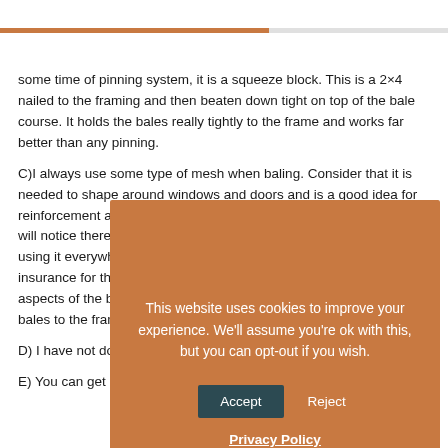[Figure (other): Progress bar partially filled in orange/brown color at top of page]
some time of pinning system, it is a squeeze block. This is a 2×4 nailed to the framing and then beaten down tight on top of the bale course. It holds the bales really tightly to the frame and works far better than any pinning.
C)I always use some type of mesh when baling. Consider that it is needed to shape around windows and doors and is a good idea for reinforcement a... will notice there is v... using it everywhere... insurance for the p... aspects of the bale... bales to the frame a...
D) I have not done...
E) You can get good colors from http://www.foo.co. Let them...
This website uses cookies to improve your experience. We'll assume you're ok with this, but you can opt-out if you wish.
Accept
Reject
Privacy Policy